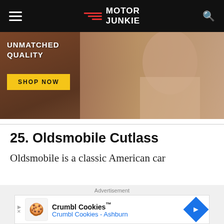Motor Junkie
[Figure (photo): Advertisement banner showing a woman with sunglasses with text 'UNMATCHED QUALITY' and a yellow 'SHOP NOW' button]
25. Oldsmobile Cutlass
Oldsmobile is a classic American car
Advertisement — Crumbl Cookies™ Crumbl Cookies - Ashburn